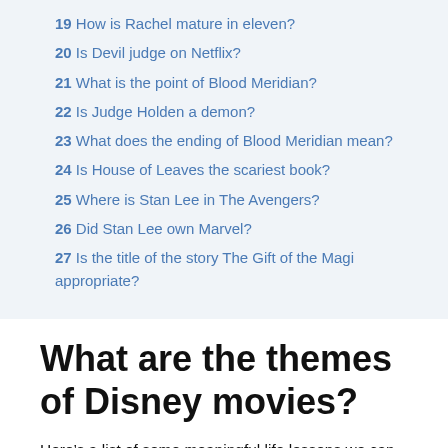19  How is Rachel mature in eleven?
20  Is Devil judge on Netflix?
21  What is the point of Blood Meridian?
22  Is Judge Holden a demon?
23  What does the ending of Blood Meridian mean?
24  Is House of Leaves the scariest book?
25  Where is Stan Lee in The Avengers?
26  Did Stan Lee own Marvel?
27  Is the title of the story The Gift of the Magi appropriate?
What are the themes of Disney movies?
Here’s a list of some meaningful life lessons we can learn from Disney.Toy Story – You can never set your goals too high. Tangled – Step out of your comfort zone. Finding Nemo – No matter how difficult life gets, just keep swimming. Peter Pan – Growing up is